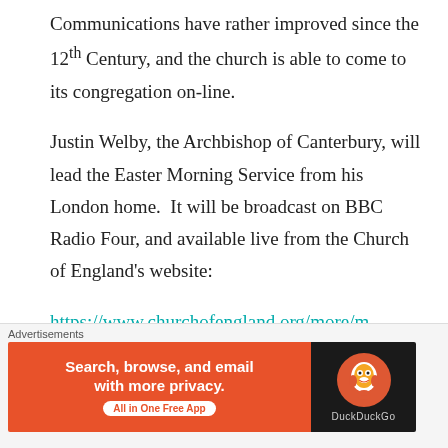Communications have rather improved since the 12th Century, and the church is able to come to its congregation on-line.
Justin Welby, the Archbishop of Canterbury, will lead the Easter Morning Service from his London home.  It will be broadcast on BBC Radio Four, and available live from the Church of England's website: https://www.churchofengland.org/more/media-centre/church-online
Advertisements
[Figure (illustration): DuckDuckGo advertisement banner: orange left section with text 'Search, browse, and email with more privacy. All in One Free App' and dark right section with DuckDuckGo duck logo and brand name.]